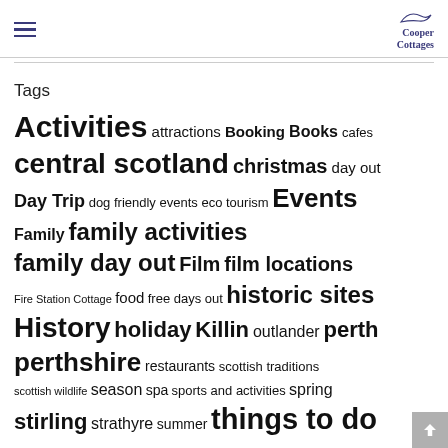Cooper Cottages
Tags
Activities attractions Booking Books cafes central scotland christmas day out Day Trip dog friendly events eco tourism Events Family family activities family day out Film film locations Fire Station Cottage food free days out historic sites History holiday Killin outlander perth perthshire restaurants scottish traditions scottish wildlife season spa sports and activities spring stirling strathyre summer things to do